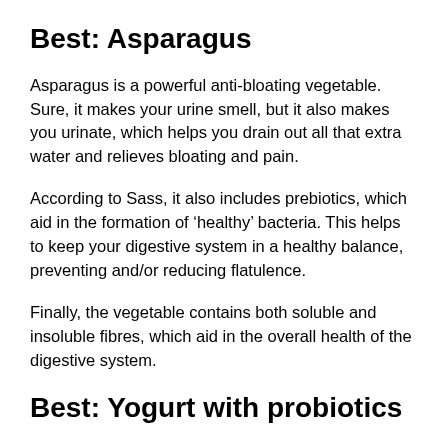Best: Asparagus
Asparagus is a powerful anti-bloating vegetable. Sure, it makes your urine smell, but it also makes you urinate, which helps you drain out all that extra water and relieves bloating and pain.
According to Sass, it also includes prebiotics, which aid in the formation of ‘healthy’ bacteria. This helps to keep your digestive system in a healthy balance, preventing and/or reducing flatulence.
Finally, the vegetable contains both soluble and insoluble fibres, which aid in the overall health of the digestive system.
Best: Yogurt with probiotics